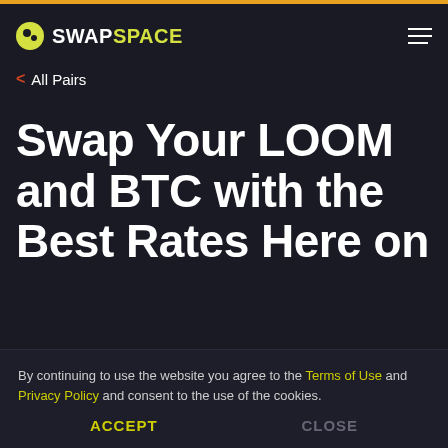SWAPSPACE
< All Pairs
Swap Your LOOM and BTC with the Best Rates Here on
By continuing to use the website you agree to the Terms of Use and Privacy Policy and consent to the use of the cookies.
ACCEPT   CLOSE